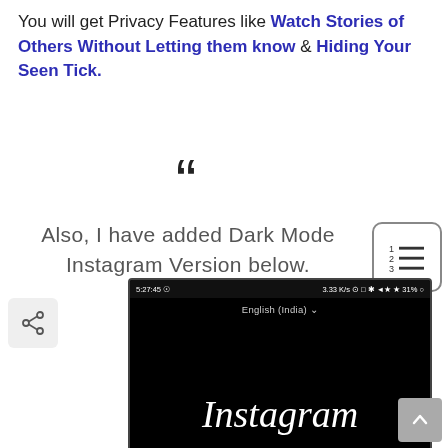You will get Privacy Features like Watch Stories of Others Without Letting them know & Hiding Your Seen Tick.
Also, I have added Dark Mode Instagram Version below.
[Figure (screenshot): A smartphone screenshot showing Instagram dark mode login screen with status bar showing 5:27:45 time, 3.33 K/s speed, 31% battery. English (India) language selector and Instagram logo in white on black background.]